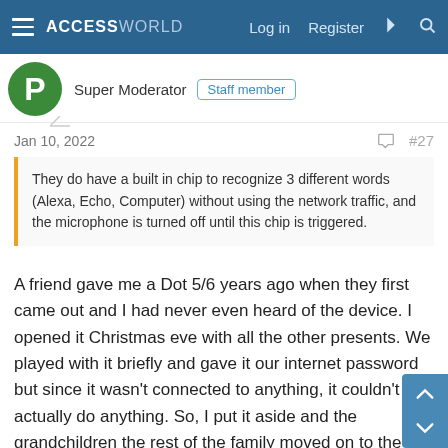ACCESSWORLD  Log in  Register
Super Moderator  Staff member
Jan 10, 2022  #27
They do have a built in chip to recognize 3 different words (Alexa, Echo, Computer) without using the network traffic, and the microphone is turned off until this chip is triggered.
A friend gave me a Dot 5/6 years ago when they first came out and I had never even heard of the device. I opened it Christmas eve with all the other presents. We played with it briefly and gave it our internet password but since it wasn't connected to anything, it couldn't actually do anything. So, I put it aside and the grandchildren the rest of the family moved on to the rest of the presents. Two days later when I got back on line again, I was getting ads for all the things that we got for Christmas. The key was the specific toys that the twins had gotten. I never did any internet searches for them. I went to the store and bought them directly or someone else did. So, don't tell me they don't